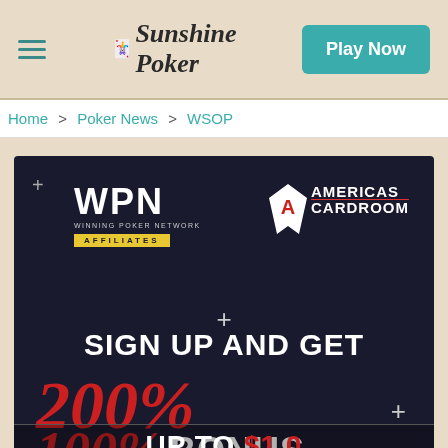Sunshine Poker — Play Now
Home > Poker News > WSOP
[Figure (photo): WPN (Winning Poker Network Affiliates) + Americas Cardroom promotional banner. Dark background with text: SIGN UP AND GET 200% (strikethrough 100%) BONUS UP TO $1,000]